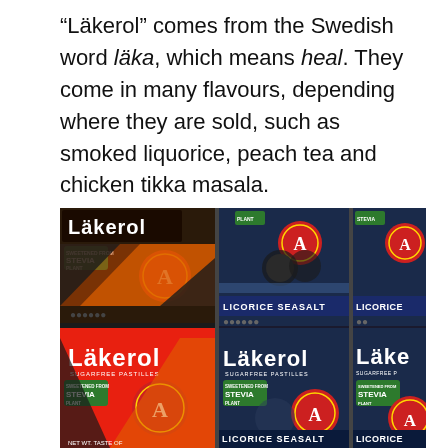“Läkerol” comes from the Swedish word läka, which means heal. They come in many flavours, depending where they are sold, such as smoked liquorice, peach tea and chicken tikka masala.
[Figure (photo): Photo of multiple Lakerol sugarfree pastille packages showing various licorice flavours including Licorice Persimon, Licorice Seasalt, and others. Packages show the Lakerol brand name with STEVIA PLANT sweetener labels and a red circular 'A' logo.]